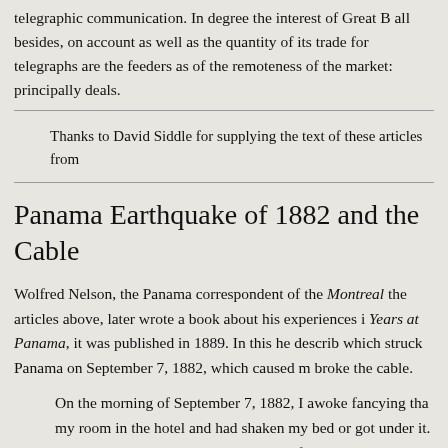telegraphic communication. In degree the interest of Great B all besides, on account as well as the quantity of its trade for telegraphs are the feeders as of the remoteness of the market: principally deals.
Thanks to David Siddle for supplying the text of these articles from
Panama Earthquake of 1882 and the Cable
Wolfred Nelson, the Panama correspondent of the Montreal the articles above, later wrote a book about his experiences i Years at Panama, it was published in 1889. In this he describ which struck Panama on September 7, 1882, which caused m broke the cable.
On the morning of September 7, 1882, I awoke fancying tha my room in the hotel and had shaken my bed or got under it. about the room, but could see nothing, for there was but little understand the thing and stepped out on the hotel balcony. W balcony trying to account for the cause that had awakened m trembled violently, and there was a groaning, crunching nois forget.
The below that I can see a few first facts about